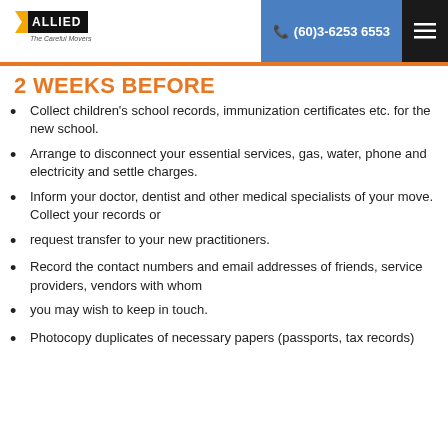Allied - The Careful Movers | (60)3-6253 6553
2 WEEKS BEFORE
Collect children's school records, immunization certificates etc. for the new school.
Arrange to disconnect your essential services, gas, water, phone and electricity and settle charges.
Inform your doctor, dentist and other medical specialists of your move. Collect your records or
request transfer to your new practitioners.
Record the contact numbers and email addresses of friends, service providers, vendors with whom
you may wish to keep in touch.
Photocopy duplicates of necessary papers (passports, tax records)